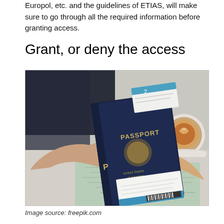Europol, etc. and the guidelines of ETIAS, will make sure to go through all the required information before granting access.
Grant, or deny the access
[Figure (photo): Two hands exchanging a US passport with boarding passes tucked inside it, placed on top of a map. A coffee cup is visible in the background on a desk.]
Image source: freepik.com